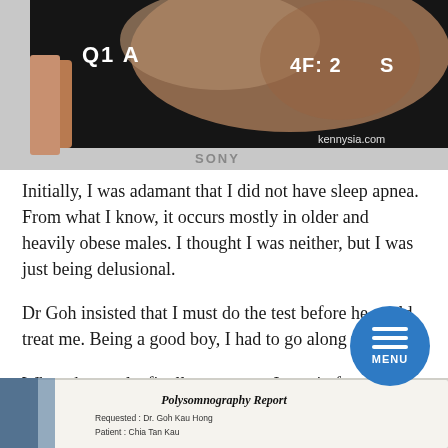[Figure (photo): A Sony monitor screen showing a medical endoscopy or imaging display with text 'Q1 A', '4F: 2', 'S', and 'SONY' brand label. A hand is visible on the left. Watermark 'kennysia.com' visible in bottom right.]
Initially, I was adamant that I did not have sleep apnea. From what I know, it occurs mostly in older and heavily obese males. I thought I was neither, but I was just being delusional.
Dr Goh insisted that I must do the test before he could treat me. Being a good boy, I had to go along with it.
When the results finally came out, I was in for a rude awakening.
[Figure (photo): Partial view of a Polysomnography Report document. Text visible: 'Polysomnography Report', 'Requested: Dr. Goh Kau Hong', 'Patient: Chia Tan Kau']